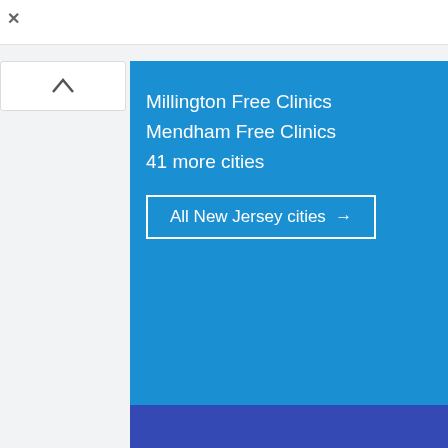[Figure (screenshot): sweetFrog advertisement banner with logo, text 'You deserve a sweet Treat' and 'sweetFrog', plus a navigation/map arrow icon on right]
Millington Free Clinics
Mendham Free Clinics
41 more cities
All New Jersey cities →
[Figure (screenshot): Stafford Prosthodontics advertisement banner with text: 'Stafford Prosthodontics', 'Stafford Prosthodontics', 'Board-Certified Prosthodontist with Experience and Talent You Can Depend...']